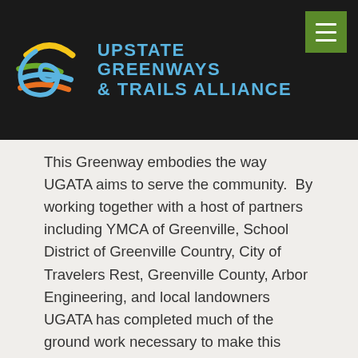[Figure (logo): Upstate Greenways & Trails Alliance logo with colorful interlocking path graphic and text]
This Greenway embodies the way UGATA aims to serve the community.  By working together with a host of partners including YMCA of Greenville, School District of Greenville Country, City of Travelers Rest, Greenville County, Arbor Engineering, and local landowners UGATA has completed much of the ground work necessary to make this dream a reality.  Together, we have obtained and recorded easements necessary to build the trail, engaged trail engineers to create cost estimate documents and initial designs, and presented to numerous elected officials about the project in order to build consensus and enthusiasm for the project.  Now, we're at the last big step:  funding.  We've applied for several